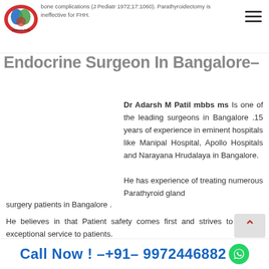bone complications (J Pediatr 1972;17:1060). Parathyroidectomy is ineffective for FHH.
Endocrine Surgeon In Bangalore–
Dr Adarsh M Patil mbbs ms Is one of the leading surgeons in Bangalore .15 years of experience in eminent hospitals like Manipal Hospital, Apollo Hospitals and Narayana Hrudalaya in Bangalore.
He has experience of treating numerous Parathyroid gland surgery patients in Bangalore .
He believes in that Patient safety comes first and strives to provide exceptional service to patients.
Call Now ! –+91– 9972446882